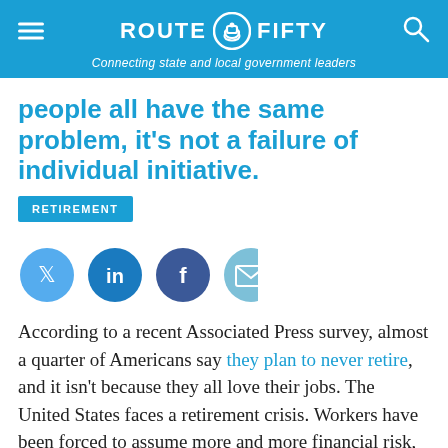ROUTE FIFTY — Connecting state and local government leaders
people all have the same problem, it's not a failure of individual initiative.
RETIREMENT
[Figure (infographic): Social media share icons: Twitter, LinkedIn, Facebook, Email]
According to a recent Associated Press survey, almost a quarter of Americans say they plan to never retire, and it isn't because they all love their jobs. The United States faces a retirement crisis. Workers have been forced to assume more and more financial risk, and as a result, many